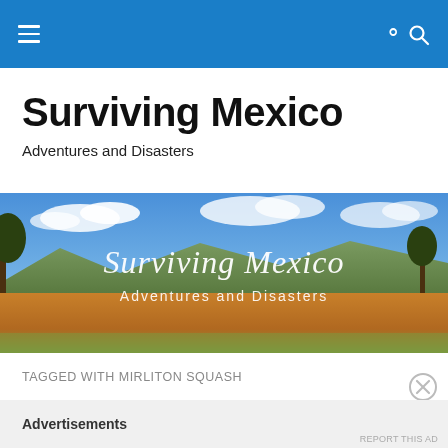Navigation bar with hamburger menu and search icon
Surviving Mexico
Adventures and Disasters
[Figure (photo): Landscape banner image showing a dry Mexican countryside with golden grass fields, sparse trees, mountains in background under blue sky with clouds. White cursive text overlay reads 'Surviving Mexico' with subtitle 'Adventures and Disasters']
TAGGED WITH MIRLITON SQUASH
Advertisements